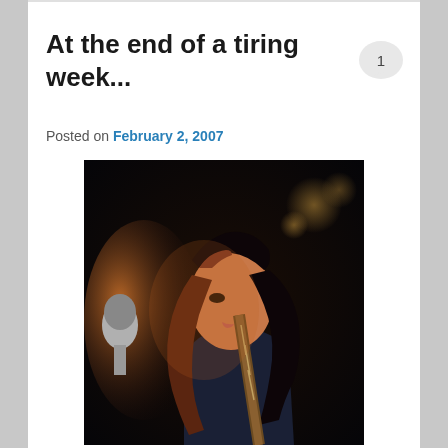At the end of a tiring week...
Posted on February 2, 2007
[Figure (photo): A young woman with long brown/auburn hair playing guitar on stage, partially obscuring her face, with a microphone stand visible to the left, dark concert background with bokeh lights, wearing a sleeveless top.]